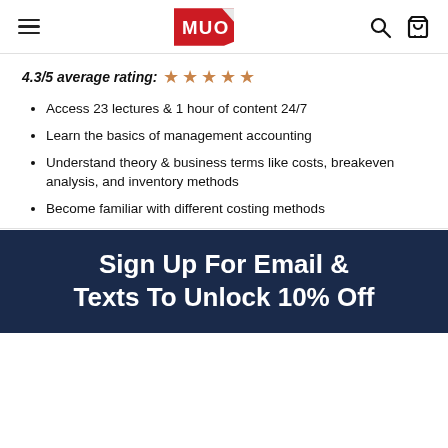MUO
4.3/5 average rating: ★ ★ ★ ★ ★
Access 23 lectures & 1 hour of content 24/7
Learn the basics of management accounting
Understand theory & business terms like costs, breakeven analysis, and inventory methods
Become familiar with different costing methods
SPECS
INSTRUCTOR
Sign Up For Email & Texts To Unlock 10% Off